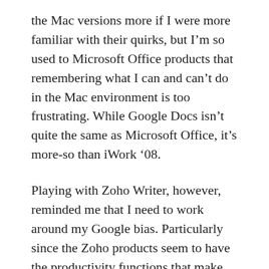the Mac versions more if I were more familiar with their quirks, but I'm so used to Microsoft Office products that remembering what I can and can't do in the Mac environment is too frustrating. While Google Docs isn't quite the same as Microsoft Office, it's more-so than iWork '08.
Playing with Zoho Writer, however, reminded me that I need to work around my Google bias. Particularly since the Zoho products seem to have the productivity functions that make my life easier.
August 21, 2008  /  technology  /  Centralized computing, Cloud applications, cloud computing, collaboration, Computing, gmail, google, iWork, layout tools, Microsoft